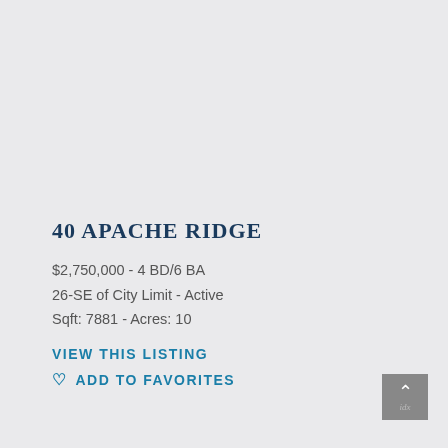40 APACHE RIDGE
$2,750,000 - 4 BD/6 BA
26-SE of City Limit - Active
Sqft: 7881 - Acres: 10
VIEW THIS LISTING
ADD TO FAVORITES